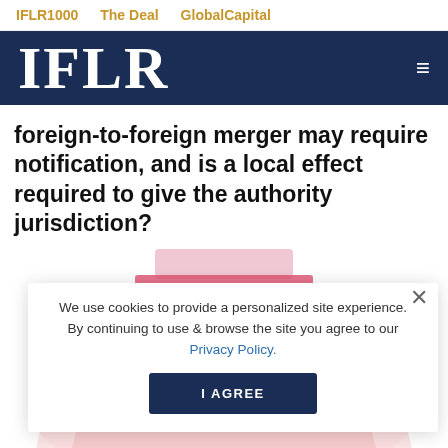IFLR1000   The Deal   GlobalCapital
IFLR
foreign-to-foreign merger may require notification, and is a local effect required to give the authority jurisdiction?
[Figure (illustration): Abstract decorative red and pink circular/dome shapes partially visible behind a cookie consent dialog]
We use cookies to provide a personalized site experience. By continuing to use & browse the site you agree to our Privacy Policy.
I AGREE